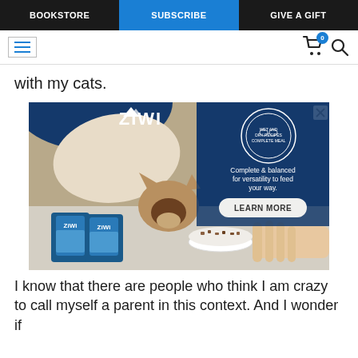BOOKSTORE | SUBSCRIBE | GIVE A GIFT
with my cats.
[Figure (photo): Advertisement for ZIWI cat food showing a Siamese cat eating from a white bowl held by a person's hand. Two bags of ZIWI cat food are visible in the lower left. Text reads: 'Complete & balanced for versatility to feed your way. LEARN MORE']
I know that there are people who think I am crazy to call myself a parent in this context. And I wonder if